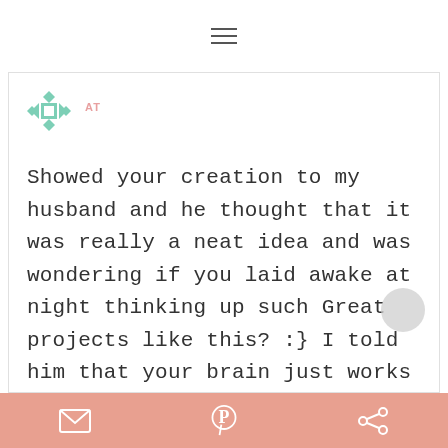[Figure (screenshot): Hamburger menu icon (three horizontal lines) centered at top of screen]
[Figure (logo): Mint green geometric quilt-block style avatar icon]
AT
Showed your creation to my husband and he thought that it was really a neat idea and was wondering if you laid awake at night thinking up such Great projects like this? :} I told him that your brain just works over time coming up with these wonderful ideas. You totally
[Figure (infographic): Bottom toolbar with email, Pinterest, and share icons on salmon/coral background]